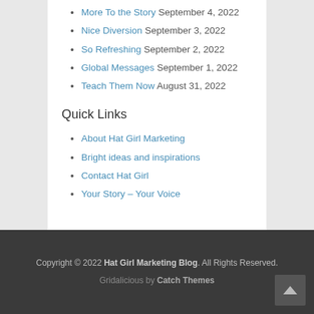More To the Story  September 4, 2022
Nice Diversion  September 3, 2022
So Refreshing  September 2, 2022
Global Messages  September 1, 2022
Teach Them Now  August 31, 2022
Quick Links
About Hat Girl Marketing
Bright ideas and inspirations
Contact Hat Girl
Your Story – Your Voice
Copyright © 2022 Hat Girl Marketing Blog. All Rights Reserved.
Gridalicious by Catch Themes